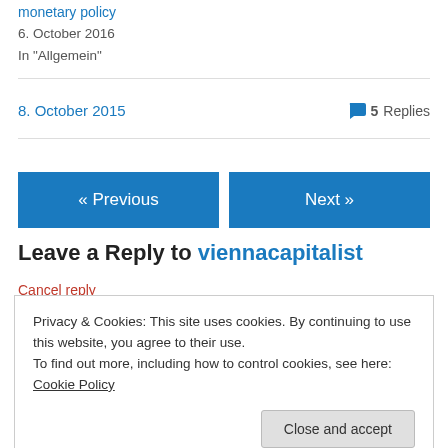monetary policy
6. October 2016
In "Allgemein"
8. October 2015   💬 5 Replies
« Previous
Next »
Leave a Reply to viennacapitalist
Cancel reply
Privacy & Cookies: This site uses cookies. By continuing to use this website, you agree to their use.
To find out more, including how to control cookies, see here: Cookie Policy
Close and accept